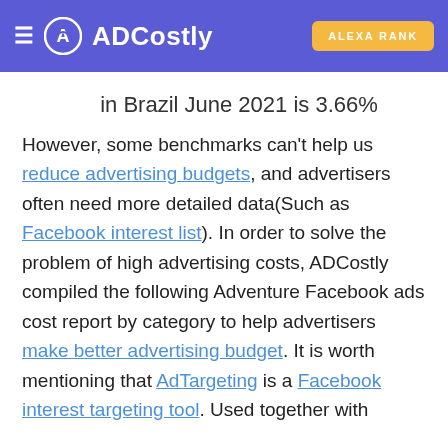ADCostly | ALEXA RANK
in Brazil June 2021 is 3.66%
However, some benchmarks can't help us reduce advertising budgets, and advertisers often need more detailed data(Such as Facebook interest list). In order to solve the problem of high advertising costs, ADCostly compiled the following Adventure Facebook ads cost report by category to help advertisers make better advertising budget. It is worth mentioning that AdTargeting is a Facebook interest targeting tool. Used together with